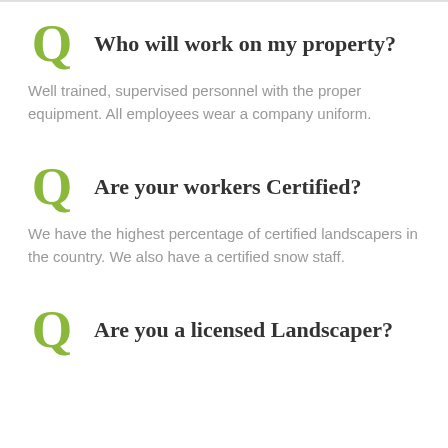Who will work on my property?
Well trained, supervised personnel with the proper equipment. All employees wear a company uniform.
Are your workers Certified?
We have the highest percentage of certified landscapers in the country. We also have a certified snow staff.
Are you a licensed Landscaper?